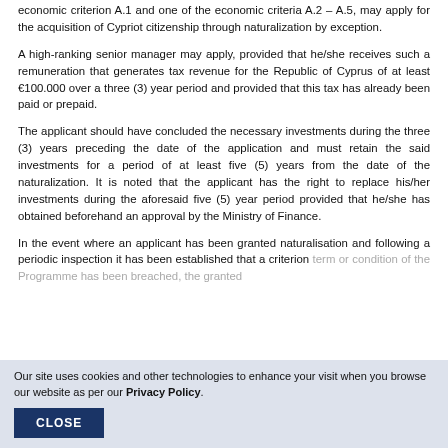economic criterion A.1 and one of the economic criteria A.2 – A.5, may apply for the acquisition of Cypriot citizenship through naturalization by exception.
A high-ranking senior manager may apply, provided that he/she receives such a remuneration that generates tax revenue for the Republic of Cyprus of at least €100.000 over a three (3) year period and provided that this tax has already been paid or prepaid.
The applicant should have concluded the necessary investments during the three (3) years preceding the date of the application and must retain the said investments for a period of at least five (5) years from the date of the naturalization. It is noted that the applicant has the right to replace his/her investments during the aforesaid five (5) year period provided that he/she has obtained beforehand an approval by the Ministry of Finance.
In the event where an applicant has been granted naturalisation and following a periodic inspection it has been established that a criterion term or condition of the Programme has been breached, the granted
Our site uses cookies and other technologies to enhance your visit when you browse our website as per our Privacy Policy.